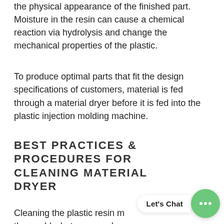the physical appearance of the finished part. Moisture in the resin can cause a chemical reaction via hydrolysis and change the mechanical properties of the plastic.
To produce optimal parts that fit the design specifications of customers, material is fed through a material dryer before it is fed into the plastic injection molding machine.
BEST PRACTICES & PROCEDURES FOR CLEANING MATERIAL DRYER
Cleaning the plastic resin material dryer thoroughly, between each production run, is vital. Residual resin from a prior run can